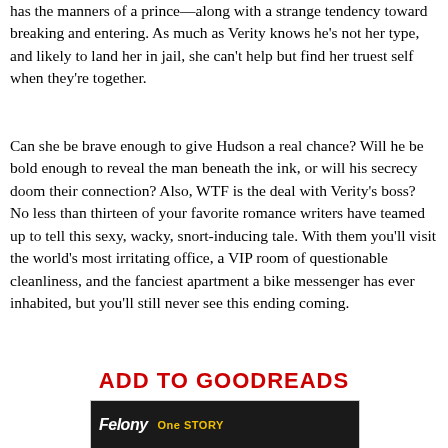has the manners of a prince—along with a strange tendency toward breaking and entering. As much as Verity knows he's not her type, and likely to land her in jail, she can't help but find her truest self when they're together.
Can she be brave enough to give Hudson a real chance? Will he be bold enough to reveal the man beneath the ink, or will his secrecy doom their connection? Also, WTF is the deal with Verity's boss? No less than thirteen of your favorite romance writers have teamed up to tell this sexy, wacky, snort-inducing tale. With them you'll visit the world's most irritating office, a VIP room of questionable cleanliness, and the fanciest apartment a bike messenger has ever inhabited, but you'll still never see this ending coming.
ADD TO GOODREADS
[Figure (photo): Book cover image showing 'Felony One Story' text with dark background]